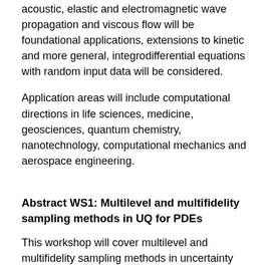acoustic, elastic and electromagnetic wave propagation and viscous flow will be foundational applications, extensions to kinetic and more general, integrodifferential equations with random input data will be considered.
Application areas will include computational directions in life sciences, medicine, geosciences, quantum chemistry, nanotechnology, computational mechanics and aerospace engineering.
Abstract WS1: Multilevel and multifidelity sampling methods in UQ for PDEs
This workshop will cover multilevel and multifidelity sampling methods in uncertainty quantification for PDEs, with a particular focus on moving beyond forward propagation of uncertainty.
A powerful and attractive way for uncertainty propagation and for Bayesian inference in random and parametric PDEs are multilevel sampling approaches, such as multilevel Monte Carlo, multilevel quasi-Monte Carlo, multilevel stochastic collocation, to